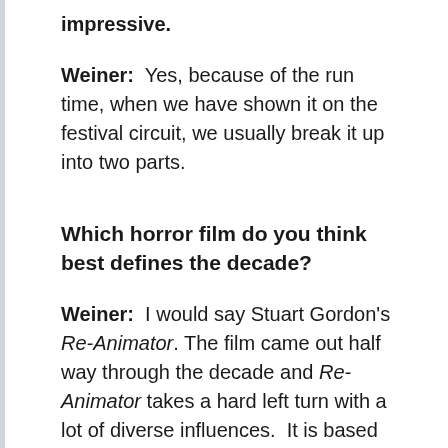impressive.
Weiner:  Yes, because of the run time, when we have shown it on the festival circuit, we usually break it up into two parts.
Which horror film do you think best defines the decade?
Weiner:  I would say Stuart Gordon's Re-Animator. The film came out half way through the decade and Re-Animator takes a hard left turn with a lot of diverse influences.  It is based on an H.P. Lovecraft story, but is also a twisted Frankenstein tale, with a lot of violence, sex, and an outrageous sense of humor.  It is a good